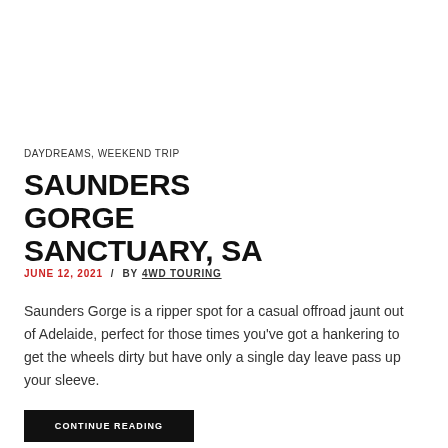DAYDREAMS, WEEKEND TRIP
SAUNDERS GORGE SANCTUARY, SA
JUNE 12, 2021   /   BY   4WD TOURING
Saunders Gorge is a ripper spot for a casual offroad jaunt out of Adelaide, perfect for those times you've got a hankering to get the wheels dirty but have only a single day leave pass up your sleeve.
CONTINUE READING